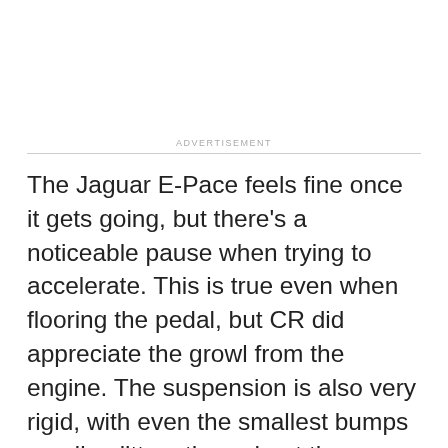ADVERTISEMENT
The Jaguar E-Pace feels fine once it gets going, but there's a noticeable pause when trying to accelerate. This is true even when flooring the pedal, but CR did appreciate the growl from the engine. The suspension is also very rigid, with even the smallest bumps sending jitters throughout the interior. Lowkey engine hum is always present, no matter your speed.